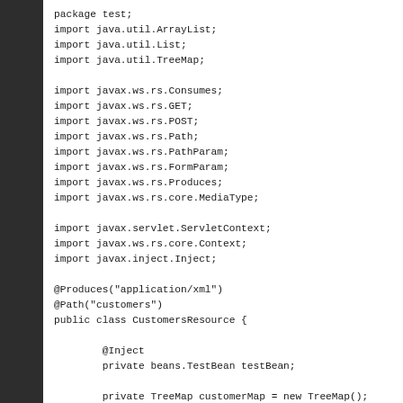[Figure (screenshot): Dark sidebar panel on the left side of the page representing a code editor UI element]
package test;
import java.util.ArrayList;
import java.util.List;
import java.util.TreeMap;

import javax.ws.rs.Consumes;
import javax.ws.rs.GET;
import javax.ws.rs.POST;
import javax.ws.rs.Path;
import javax.ws.rs.PathParam;
import javax.ws.rs.FormParam;
import javax.ws.rs.Produces;
import javax.ws.rs.core.MediaType;

import javax.servlet.ServletContext;
import javax.ws.rs.core.Context;
import javax.inject.Inject;

@Produces("application/xml")
@Path("customers")
public class CustomersResource {

        @Inject
        private beans.TestBean testBean;

        private TreeMap customerMap = new TreeMap();

        public CustomersResource() {
                System.out.println("[CustomerResource] I
                Customer customer1 = new Customer();
                customer1.setId(1111);